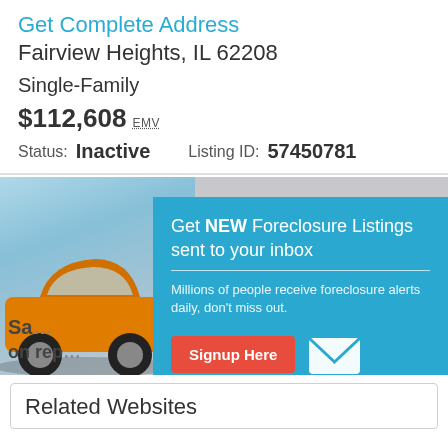Get Complete Address
Fairview Heights, IL 62208
Single-Family
$112,608 EMV
Status: Inactive   Listing ID: 57450781
[Figure (screenshot): Advertisement banner with orange car and popup overlay for foreclosure listings signup]
Get NEW Foreclosure Listings sent to your inbox
Millions of people receive foreclosure alerts daily, don't miss out.
Signup Here
No Thanks | Remind Me Later
Related Websites